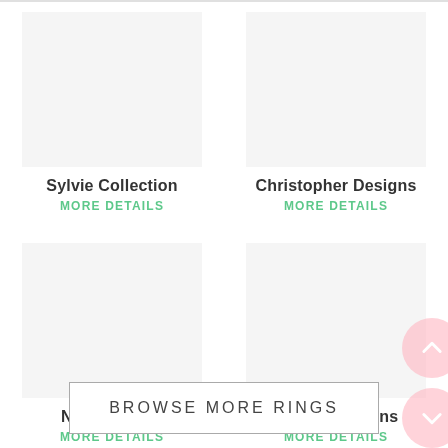[Figure (other): Sylvie Collection ring image placeholder]
Sylvie Collection
MORE DETAILS
[Figure (other): Christopher Designs ring image placeholder]
Christopher Designs
MORE DETAILS
[Figure (other): Noam Carver ring image placeholder]
Noam Carver
MORE DETAILS
[Figure (other): Ancora Designs ring image placeholder]
Ancora Designs
MORE DETAILS
BROWSE MORE RINGS